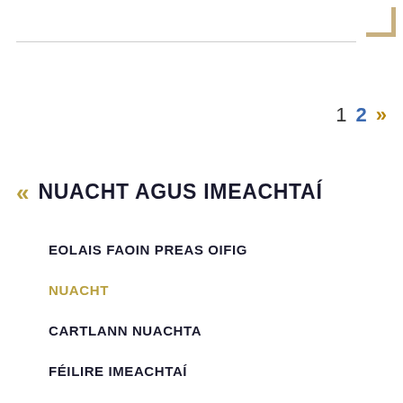1  2  »
« NUACHT AGUS IMEACHTAÍ
EOLAIS FAOIN PREAS OIFIG
NUACHT
CARTLANN NUACHTA
FÉILIRE IMEACHTAÍ